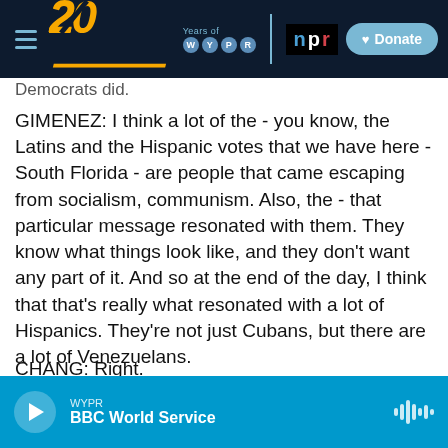20 Years of WYPR | npr | Donate
Democrats did.
GIMENEZ: I think a lot of the - you know, the Latins and the Hispanic votes that we have here - South Florida - are people that came escaping from socialism, communism. Also, the - that particular message resonated with them. They know what things look like, and they don't want any part of it. And so at the end of the day, I think that that's really what resonated with a lot of Hispanics. They're not just Cubans, but there are a lot of Venezuelans.
CHANG: Right.
WYPR | BBC World Service